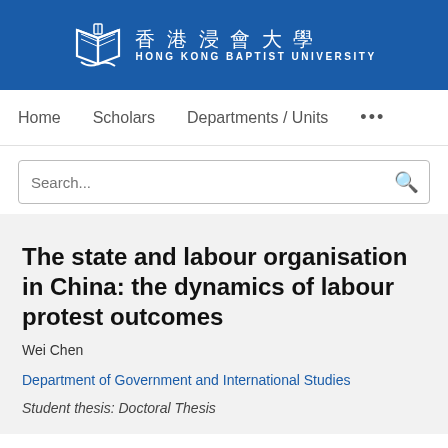[Figure (logo): Hong Kong Baptist University logo with open book icon, Chinese text 香港浸會大學 and English text HONG KONG BAPTIST UNIVERSITY on blue background]
Home   Scholars   Departments / Units   ...
Search...
The state and labour organisation in China: the dynamics of labour protest outcomes
Wei Chen
Department of Government and International Studies
Student thesis: Doctoral Thesis